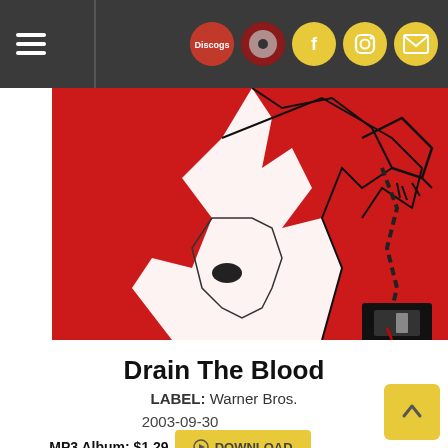Navigation bar with hamburger menu and social icons (Discogs, Rate Your Music, Facebook, Instagram, Mail)
[Figure (illustration): Album artwork for Drain The Blood — red background with black and white illustration of a figure with chains and a razor blade]
Drain The Blood
LABEL: Warner Bros.
2003-09-30
MP3 Album: $1.29  DOWNLOAD